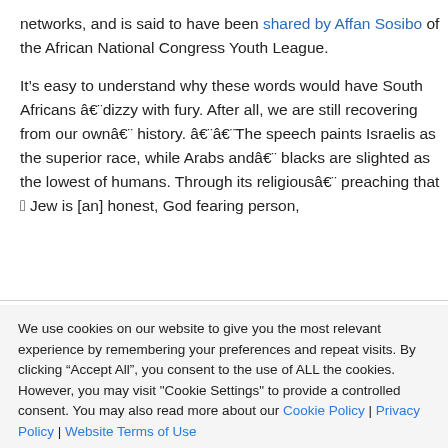networks, and is said to have been shared by Affan Sosibo of the African National Congress Youth League.
It’s easy to understand why these words would have South Africans ―dizzy with fury. After all, we are still recovering from our own― history. ――The speech paints Israelis as the superior race, while Arabs and― blacks are slighted as the lowest of humans. Through its religious― preaching that “a Jew is [an] honest, God fearing person,
We use cookies on our website to give you the most relevant experience by remembering your preferences and repeat visits. By clicking “Accept All”, you consent to the use of ALL the cookies. However, you may visit "Cookie Settings" to provide a controlled consent. You may also read more about our Cookie Policy | Privacy Policy | Website Terms of Use